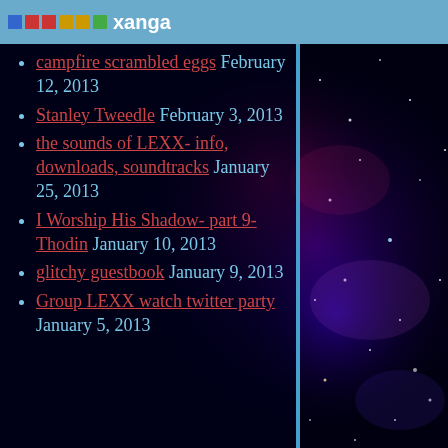xanga
campfire scrambled eggs February 12, 2013
Stanley Tweedle February 3, 2013
the sounds of LEXX- info, downloads, soundtracks January 25, 2013
I Worship His Shadow- part 9- Thodin January 10, 2013
glitchy guestbook January 9, 2013
Group LEXX watch twitter party January 5, 2013